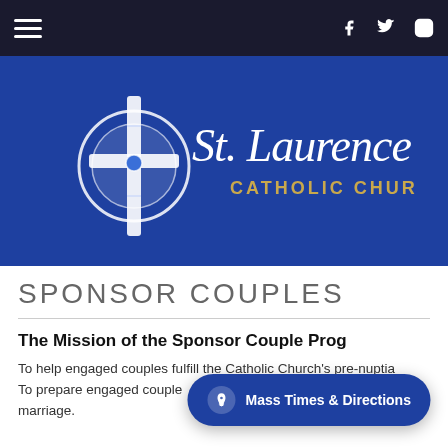St. Laurence Catholic Church – navigation bar with hamburger menu and social icons (Facebook, Twitter, Instagram)
[Figure (logo): St. Laurence Catholic Church logo on dark blue background – Celtic cross on left, cursive 'St. Laurence' in white above 'CATHOLIC CHUR[CH]' in gold letters]
SPONSOR COUPLES
The Mission of the Sponsor Couple Prog[ram]
To help engaged couples fulfill the Catholic Church's pre-nuptia[l requirements.] To prepare engaged couple[s for a fulfilling Christian co]mm[itment in] marriage.
Mass Times & Directions